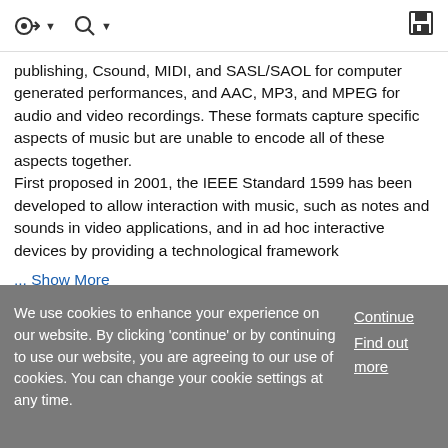Navigation and search toolbar with save icon
publishing, Csound, MIDI, and SASL/SAOL for computer generated performances, and AAC, MP3, and MPEG for audio and video recordings. These formats capture specific aspects of music but are unable to encode all of these aspects together.
First proposed in 2001, the IEEE Standard 1599 has been developed to allow interaction with music, such as notes and sounds in video applications, and in ad hoc interactive devices by providing a technological framework
... Show More
We use cookies to enhance your experience on our website. By clicking 'continue' or by continuing to use our website, you are agreeing to our use of cookies. You can change your cookie settings at any time.